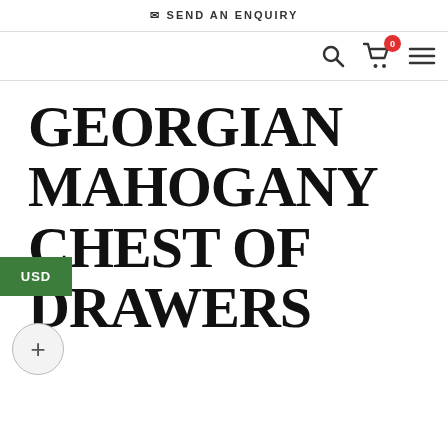SEND AN ENQUIRY
GEORGIAN MAHOGANY CHEST OF DRAWERS